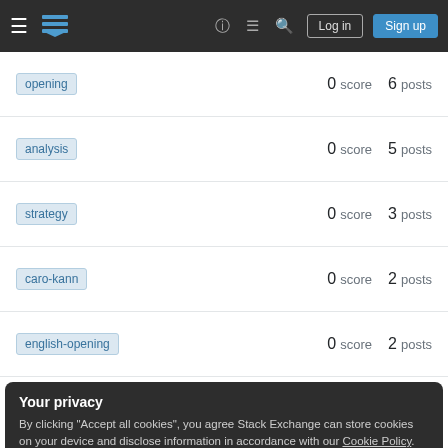Stack Exchange navigation bar with Log in and Sign up buttons
opening  0 score  6 posts
analysis  0 score  5 posts
strategy  0 score  3 posts
caro-kann  0 score  2 posts
english-opening  0 score  2 posts
Your privacy
By clicking "Accept all cookies", you agree Stack Exchange can store cookies on your device and disclose information in accordance with our Cookie Policy.
Accept all cookies  Customize settings
Footer